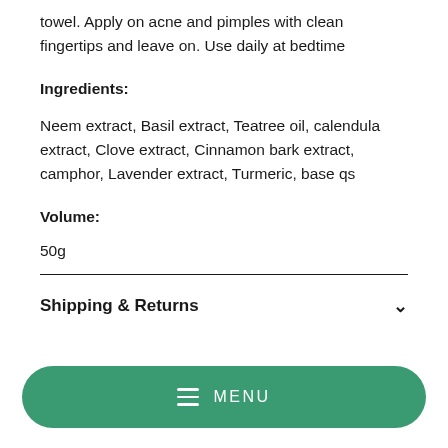towel. Apply on acne and pimples with clean fingertips and leave on. Use daily at bedtime
Ingredients:
Neem extract, Basil extract, Teatree oil, calendula extract, Clove extract, Cinnamon bark extract, camphor, Lavender extract, Turmeric, base qs
Volume:
50g
Shipping & Returns
[Figure (other): Green rounded rectangle MENU button with hamburger icon]